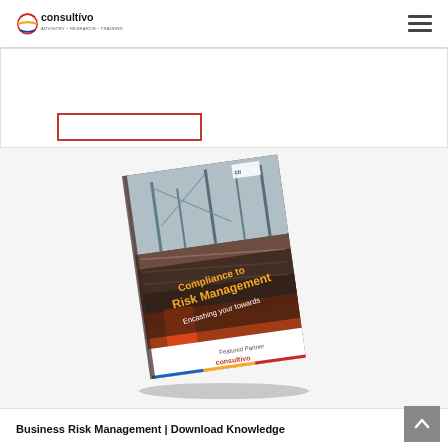consultivo | ADVISORY • RESEARCH • TRAINING
[Figure (screenshot): A partially visible white card with a red-bordered button outline]
[Figure (photo): A book titled 'Compliance to Risk Management – Encashing your towards' with a construction site background and Consultivo logo at the bottom]
Business Risk Management | Download Knowledge